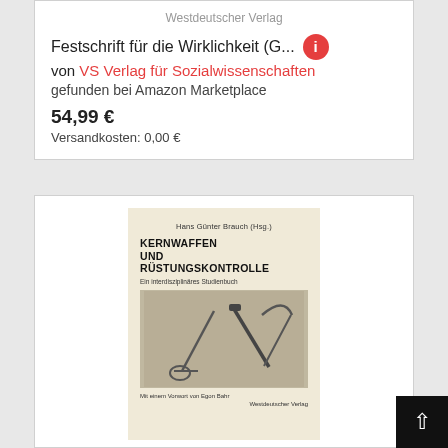Westdeutscher Verlag
Festschrift für die Wirklichkeit (G...
von VS Verlag für Sozialwissenschaften
gefunden bei Amazon Marketplace
54,99 €
Versandkosten: 0,00 €
[Figure (photo): Book cover of 'Kernwaffen und Rüstungskontrolle – Ein interdisziplinäres Studienbuch', edited by Hans Günter Brauch, with a foreword by Egon Bahr, published by Westdeutscher Verlag. The cover shows a photo of a safety pin and a gun barrel arranged in a V shape.]